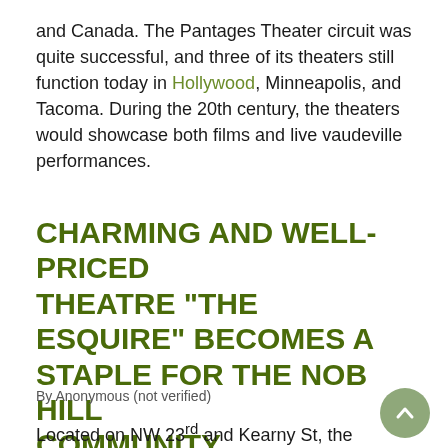and Canada. The Pantages Theater circuit was quite successful, and three of its theaters still function today in Hollywood, Minneapolis, and Tacoma. During the 20th century, the theaters would showcase both films and live vaudeville performances.
CHARMING AND WELL-PRICED THEATRE "THE ESQUIRE" BECOMES A STAPLE FOR THE NOB HILL COMMUNITY
By Anonymous (not verified)
Located on NW 23rd and Kearny St, the Esquire theater was an entertainment staple for the Nob Hill neighborhood in Portland, Oregon.